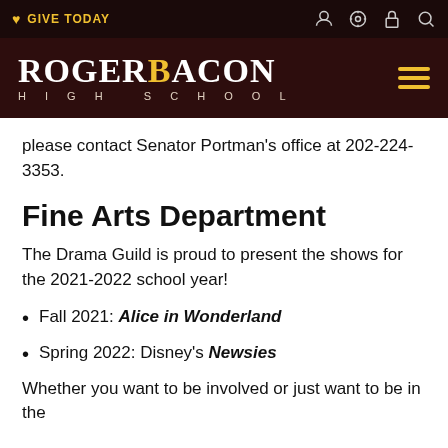GIVE TODAY — Roger Bacon High School
please contact Senator Portman's office at 202-224-3353.
Fine Arts Department
The Drama Guild is proud to present the shows for the 2021-2022 school year!
Fall 2021: Alice in Wonderland
Spring 2022: Disney's Newsies
Whether you want to be involved or just want to be in the